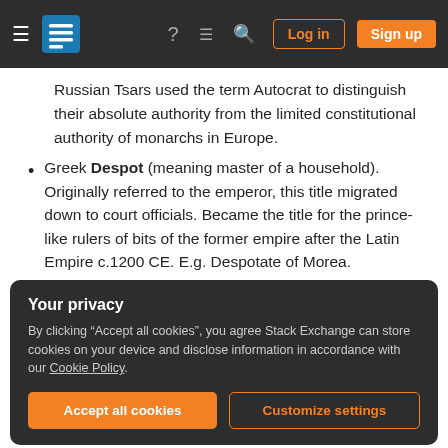Stack Exchange navigation bar with Log in and Sign up buttons
Russian Tsars used the term Autocrat to distinguish their absolute authority from the limited constitutional authority of monarchs in Europe.
Greek Despot (meaning master of a household). Originally referred to the emperor, this title migrated down to court officials. Became the title for the prince-like rulers of bits of the former empire after the Latin Empire c.1200 CE. E.g. Despotate of Morea.
Your privacy
By clicking "Accept all cookies", you agree Stack Exchange can store cookies on your device and disclose information in accordance with our Cookie Policy.
Accept all cookies   Customize settings
was a title of a chief. Theoden, where have I